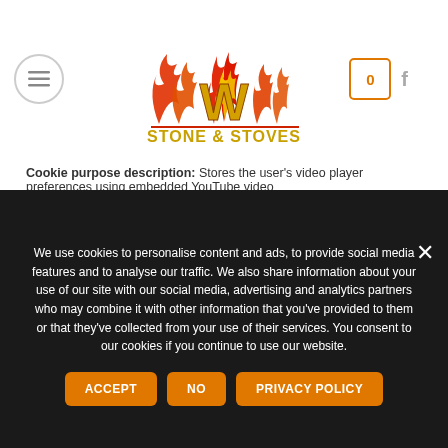[Figure (logo): W Stone & Stoves logo with flame graphic and yellow text]
Cookie purpose description: Stores the user's video player preferences using embedded YouTube video
| Name | Domain | Type | Duration |
| --- | --- | --- | --- |
| yt-remote-fast-check-period | youtube.com | HTML | Session |
Cookie purpose description: Stores the user's video player preferences using embedded YouTube video
We use cookies to personalise content and ads, to provide social media features and to analyse our traffic. We also share information about your use of our site with our social media, advertising and analytics partners who may combine it with other information that you've provided to them or that they've collected from your use of their services. You consent to our cookies if you continue to use our website.